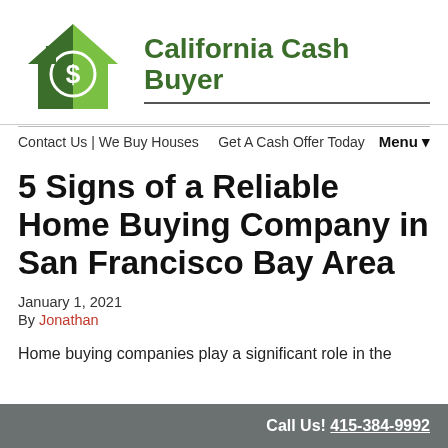[Figure (logo): California Cash Buyer logo: green house icon with dollar sign, beside bold green text 'California Cash Buyer']
Contact Us | We Buy Houses   Get A Cash Offer Today   Menu▾
5 Signs of a Reliable Home Buying Company in San Francisco Bay Area
January 1, 2021
By Jonathan
Home buying companies play a significant role in the
Call Us! 415-384-9992